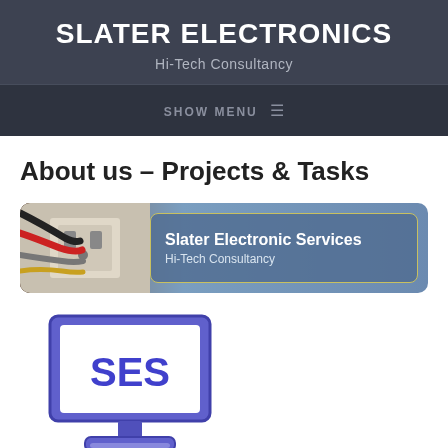SLATER ELECTRONICS
Hi-Tech Consultancy
SHOW MENU ≡
About us – Projects & Tasks
[Figure (logo): Slater Electronic Services banner with photo of electrical cables on left and text box with 'Slater Electronic Services, Hi-Tech Consultancy' on blue-grey background]
[Figure (logo): SES logo showing a computer monitor with 'SES' in bold blue letters on white screen, monitor in blue/purple outline on blue/purple base]